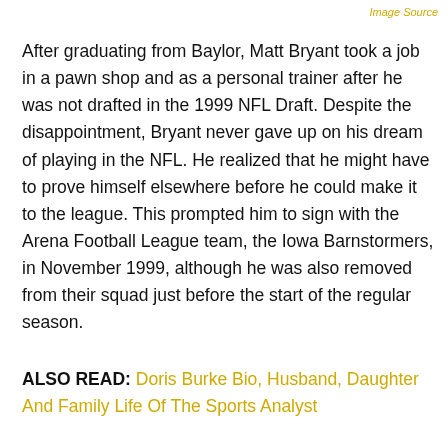Image Source
After graduating from Baylor, Matt Bryant took a job in a pawn shop and as a personal trainer after he was not drafted in the 1999 NFL Draft. Despite the disappointment, Bryant never gave up on his dream of playing in the NFL. He realized that he might have to prove himself elsewhere before he could make it to the league. This prompted him to sign with the Arena Football League team, the Iowa Barnstormers, in November 1999, although he was also removed from their squad just before the start of the regular season.
ALSO READ: Doris Burke Bio, Husband, Daughter And Family Life Of The Sports Analyst